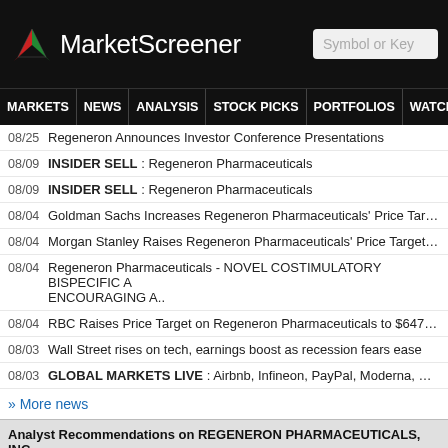MarketScreener
08/25 Regeneron Announces Investor Conference Presentations
08/09 INSIDER SELL : Regeneron Pharmaceuticals
08/09 INSIDER SELL : Regeneron Pharmaceuticals
08/04 Goldman Sachs Increases Regeneron Pharmaceuticals' Price Target to $
08/04 Morgan Stanley Raises Regeneron Pharmaceuticals' Price Target to $625
08/04 Regeneron Pharmaceuticals - NOVEL COSTIMULATORY BISPECIFIC A.. ENCOURAGING A..
08/04 RBC Raises Price Target on Regeneron Pharmaceuticals to $647 From $
08/03 Wall Street rises on tech, earnings boost as recession fears ease
08/03 GLOBAL MARKETS LIVE : Airbnb, Infineon, PayPal, Moderna, Starbuck
» More news
Analyst Recommendations on REGENERON PHARMACEUTICALS, INC.
08/04 Goldman Sachs Increases Regeneron Pharmaceuticals' Price Target to $
08/04 Morgan Stanley Raises Regeneron Pharmaceuticals' Price Target to $625